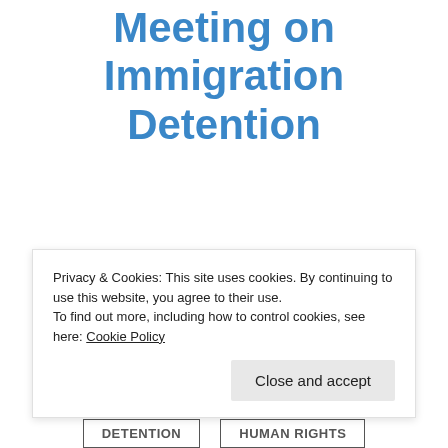Parliamentary Meeting on Immigration Detention
November 16, 2017
News
Earlier today MPs and Peers held a
Privacy & Cookies: This site uses cookies. By continuing to use this website, you agree to their use.
To find out more, including how to control cookies, see here: Cookie Policy
Close and accept
DETENTION
HUMAN RIGHTS